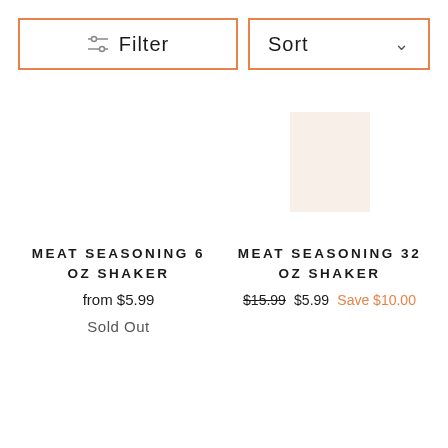[Figure (screenshot): Filter and Sort toolbar buttons with orange borders]
[Figure (photo): Product image area for Meat Seasoning 6 oz Shaker (empty/no image)]
MEAT SEASONING 6 OZ SHAKER
from $5.99
Sold Out
[Figure (photo): Product image area for Meat Seasoning 32 oz Shaker with faint orange product silhouette]
MEAT SEASONING 32 OZ SHAKER
$15.99  $5.99  Save $10.00